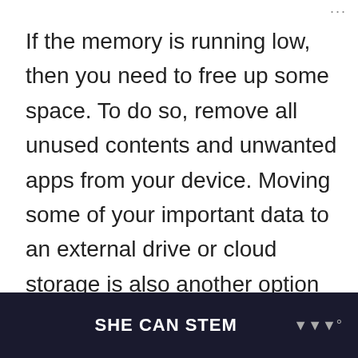If the memory is running low, then you need to free up some space. To do so, remove all unused contents and unwanted apps from your device. Moving some of your important data to an external drive or cloud storage is also another option to consider.
Fourth solution: Update iOS to the latest version.
One way to keep your iPhone system at its...
SHE CAN STEM